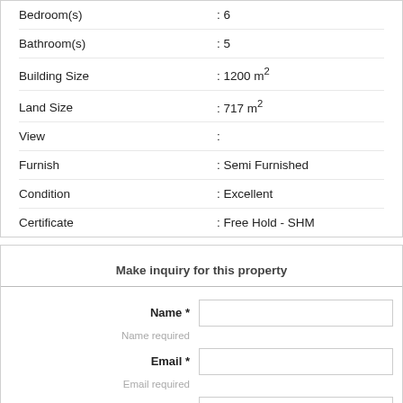| Property | Value |
| --- | --- |
| Bedroom(s) | : 6 |
| Bathroom(s) | : 5 |
| Building Size | : 1200 m² |
| Land Size | : 717 m² |
| View | : |
| Furnish | : Semi Furnished |
| Condition | : Excellent |
| Certificate | : Free Hold - SHM |
Make inquiry for this property
Name * | Name required
Email * | Email required
Phone * | Phone required
Messages | Regarding HFS1946 - House for Sale...